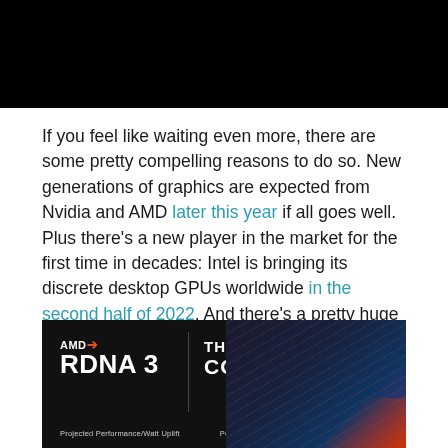[Figure (photo): Dark/black image at the top of the page, cropped screenshot or video frame with black background]
If you feel like waiting even more, there are some pretty compelling reasons to do so. New generations of graphics are expected from Nvidia and AMD later this year if all goes well. Plus there’s a new player in the market for the first time in decades: Intel is bringing its discrete desktop GPUs worldwide in the second half of 2022. And there’s a pretty huge shift in compatibility coming with the introduction of PCIe 5.
[Figure (photo): AMD RDNA 3 advertisement banner. Dark background with AMD logo, text reading 'THE JOURNEY CONTINUES', a vertical divider, and a graphic of a gaming laptop on the right. Bottom text reads 'Projected Performance/Watt Uplift' and 'Performance-per-watt']